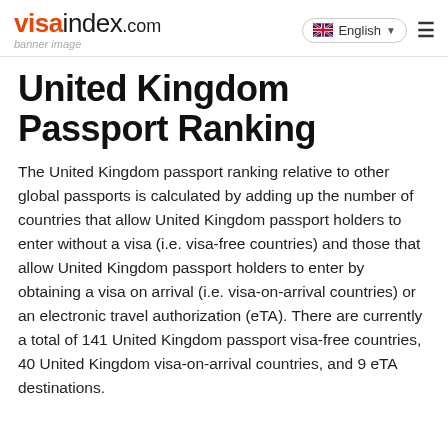visaindex.com | English
United Kingdom Passport Ranking
The United Kingdom passport ranking relative to other global passports is calculated by adding up the number of countries that allow United Kingdom passport holders to enter without a visa (i.e. visa-free countries) and those that allow United Kingdom passport holders to enter by obtaining a visa on arrival (i.e. visa-on-arrival countries) or an electronic travel authorization (eTA). There are currently a total of 141 United Kingdom passport visa-free countries, 40 United Kingdom visa-on-arrival countries, and 9 eTA destinations.